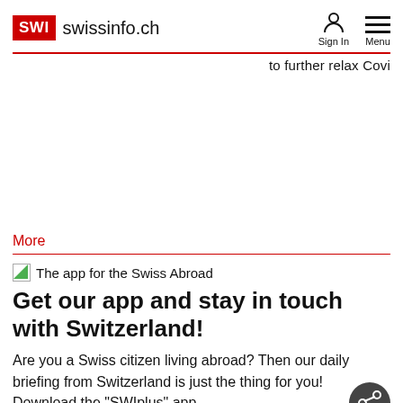SWI swissinfo.ch | Sign In | Menu
to further relax Covi
More
The app for the Swiss Abroad
Get our app and stay in touch with Switzerland!
Are you a Swiss citizen living abroad? Then our daily briefing from Switzerland is just the thing for you! Download the "SWIplus" app.